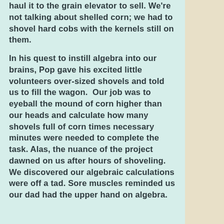haul it to the grain elevator to sell. We're not talking about shelled corn; we had to shovel hard cobs with the kernels still on them.
In his quest to instill algebra into our brains, Pop gave his excited little volunteers over-sized shovels and told us to fill the wagon.  Our job was to eyeball the mound of corn higher than our heads and calculate how many shovels full of corn times necessary minutes were needed to complete the task. Alas, the nuance of the project dawned on us after hours of shoveling. We discovered our algebraic calculations were off a tad. Sore muscles reminded us our dad had the upper hand on algebra.